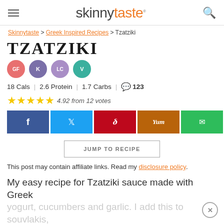skinnytaste
Skinnytaste > Greek Inspired Recipes > Tzatziki
TZATZIKI
[Figure (infographic): Four colored badge icons: GF (pink), K (purple), LC (light purple), V (teal)]
18 Cals | 2.6 Protein | 1.7 Carbs | 💬 123
★★★★★ 4.92 from 12 votes
[Figure (infographic): Social share buttons: Facebook (blue), Twitter (light blue), Pinterest (red), Yummly (orange), Email (green). Share count: 7989 SHARES]
JUMP TO RECIPE
This post may contain affiliate links. Read my disclosure policy.
My easy recipe for Tzatziki sauce made with Greek yogurt, cucumbers and garlic. I add this to souvlakis,